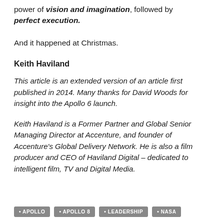power of vision and imagination, followed by perfect execution.
And it happened at Christmas.
Keith Haviland
This article is an extended version of an article first published in 2014. Many thanks for David Woods for insight into the Apollo 6 launch.
Keith Haviland is a Former Partner and Global Senior Managing Director at Accenture, and founder of Accenture's Global Delivery Network. He is also a film producer and CEO of Haviland Digital – dedicated to intelligent film, TV and Digital Media.
APOLLO
APOLLO 8
LEADERSHIP
NASA